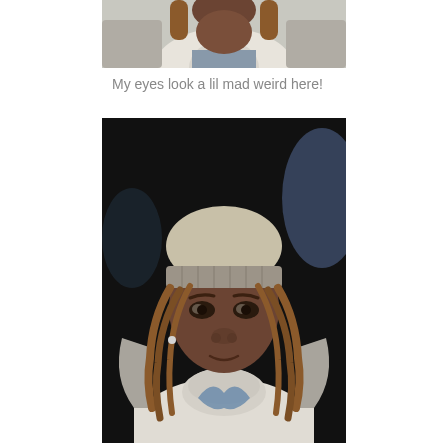[Figure (photo): Close-up cropped photo showing the lower face and upper chest of a person wearing a white turtleneck sweater and a light gray jacket with braided/locked reddish-brown hair, taken in a car interior setting.]
My eyes look a lil mad weird here!
[Figure (photo): Full portrait selfie of a young person wearing a beige/gray knit beanie hat and a white turtleneck sweater with a light gray jacket, with reddish-brown locs/braids framing the face, taken in a dark car interior setting.]